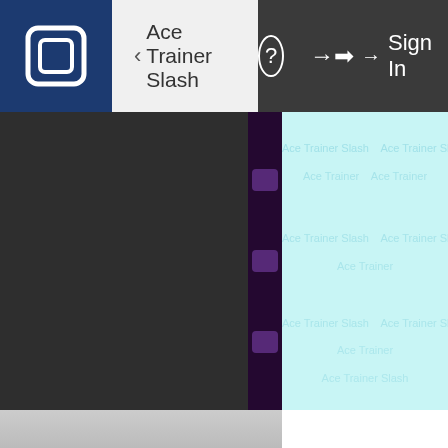[Figure (screenshot): Application UI screenshot showing a navigation bar with a logo icon on the left (dark blue square with white square icon), a back button labeled 'Ace Trainer Slash', a help circle icon, and a Sign In button with arrow on the right. Below is a split-panel layout: a dark gray left panel, a narrow dark purple middle column with tab handles, and a light cyan right panel. The bottom shows a light gray/white strip.]